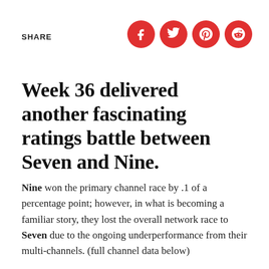SHARE
[Figure (illustration): Four red circular social media share buttons: Facebook (f), Twitter (bird icon), Pinterest (p), Reddit (alien icon)]
Week 36 delivered another fascinating ratings battle between Seven and Nine.
Nine won the primary channel race by .1 of a percentage point; however, in what is becoming a familiar story, they lost the overall network race to Seven due to the ongoing underperformance from their multi-channels. (full channel data below)